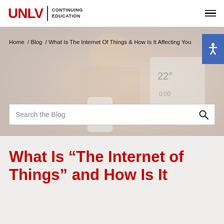UNLV | CONTINUING EDUCATION
[Figure (photo): Hero banner with blurred background showing a woman holding a smartphone, with a smart home device display visible. Search bar overlaid at bottom.]
Home / Blog / What Is The Internet Of Things & How Is It Affecting You
What Is “The Internet of Things” and How Is It